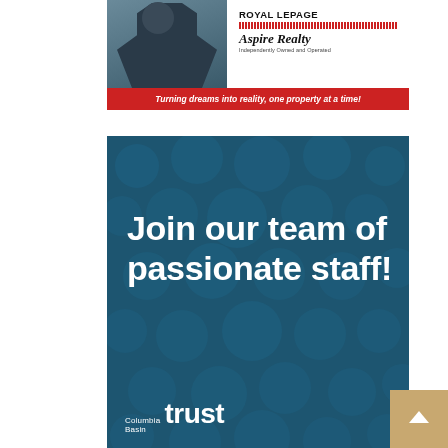[Figure (advertisement): Royal LePage Aspire Realty advertisement with person silhouette and red banner reading 'Turning dreams into reality, one property at a time!']
[Figure (advertisement): Columbia Basin Trust 'Join our team of passionate staff!' recruitment advertisement on dark teal background with polka dot pattern]